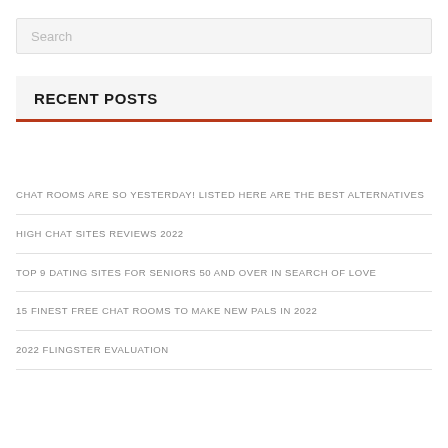Search
RECENT POSTS
CHAT ROOMS ARE SO YESTERDAY! LISTED HERE ARE THE BEST ALTERNATIVES
HIGH CHAT SITES REVIEWS 2022
TOP 9 DATING SITES FOR SENIORS 50 AND OVER IN SEARCH OF LOVE
15 FINEST FREE CHAT ROOMS TO MAKE NEW PALS IN 2022
2022 FLINGSTER EVALUATION